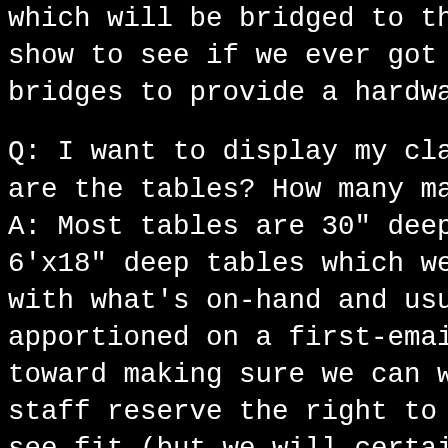which will be bridged to the internet show to see if we ever got that done. bridges to provide a hardware Ethernet
Q: I want to display my classic compu are the tables? How many may I have? A: Most tables are 30" deep and eithe 6'x18" deep tables which we will doub with what's on-hand and usually use e apportioned on a first-emailed, first toward making sure we can welcome as staff reserve the right to reduce tab see fit (but we will certainly try ou aren't a pain to transport, you may w
Q: I want to bring something BIG. How A: This is one of the big upgrades fr before, we are now on the main floor doors that open directly to the back cavernous; so as much as we'd like to